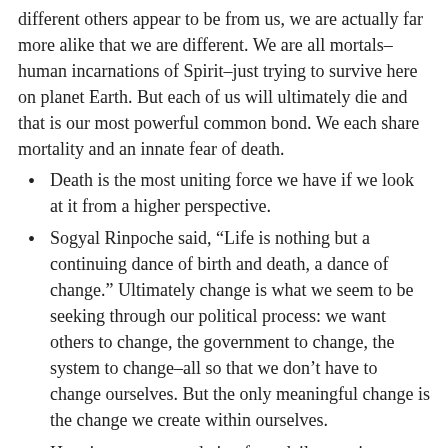different others appear to be from us, we are actually far more alike that we are different. We are all mortals–human incarnations of Spirit–just trying to survive here on planet Earth. But each of us will ultimately die and that is our most powerful common bond. We each share mortality and an innate fear of death.
Death is the most uniting force we have if we look at it from a higher perspective.
Sogyal Rinpoche said, “Life is nothing but a continuing dance of birth and death, a dance of change.” Ultimately change is what we seem to be seeking through our political process: we want others to change, the government to change, the system to change–all so that we don’t have to change ourselves. But the only meaningful change is the change we create within ourselves.
Here is a recommendation for a daily practice:
contemplate your inner landscape and seek out the